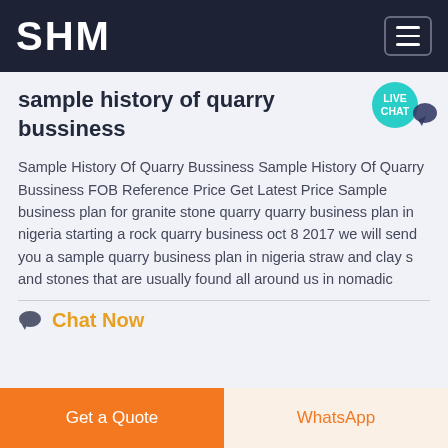SHM
sample history of quarry bussiness
Sample History Of Quarry Bussiness Sample History Of Quarry Bussiness FOB Reference Price Get Latest Price Sample business plan for granite stone quarry quarry business plan in nigeria starting a rock quarry business oct 8 2017 we will send you a sample quarry business plan in nigeria straw and clay s and stones that are usually found all around us in nomadic
Chat Now